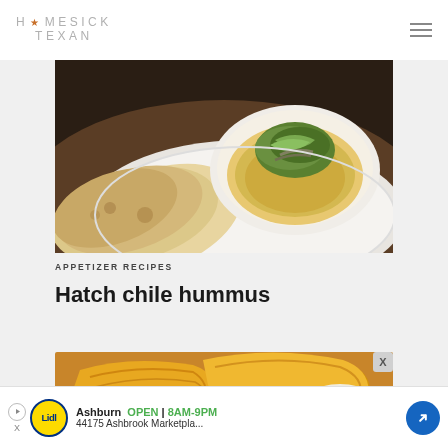HOMESICK TEXAN
[Figure (photo): Food photo showing flatbread/tortillas and a bowl of hummus topped with green herbs and roasted chiles on a plate, viewed from above]
APPETIZER RECIPES
Hatch chile hummus
[Figure (photo): Close-up photo of golden fried or baked chips/pastries on a blue plate with a dipping sauce]
[Figure (screenshot): Lidl advertisement banner showing: Ashburn OPEN 8AM-9PM, 44175 Ashbrook Marketpla... with Lidl logo and navigation arrow]